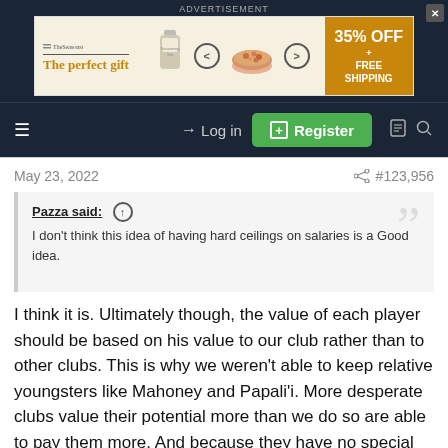ADVERTISEMENT
[Figure (screenshot): Advertisement banner: 'The perfect gift' with product image, arrows, and '35% OFF + FREE SHIPPING' offer]
≡  → Log in  ⊞ Register
May 23, 2022
#123,956
Pazza said: ↑
I don't think this idea of having hard ceilings on salaries is a Good idea.
I think it is. Ultimately though, the value of each player should be based on his value to our club rather than to other clubs. This is why we weren't able to keep relative youngsters like Mahoney and Papali'i. More desperate clubs value their potential more than we do so are able to pay them more. And because they have no special